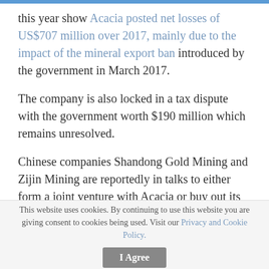this year show Acacia posted net losses of US$707 million over 2017, mainly due to the impact of the mineral export ban introduced by the government in March 2017.
The company is also locked in a tax dispute with the government worth $190 million which remains unresolved.
Chinese companies Shandong Gold Mining and Zijin Mining are reportedly in talks to either form a joint venture with Acacia or buy out its Tanzanian assets outright.
While the news of Acacia's willingness to sell at least part of its Tanzanian assets does not directly imply a fall in
This website uses cookies. By continuing to use this website you are giving consent to cookies being used. Visit our Privacy and Cookie Policy.